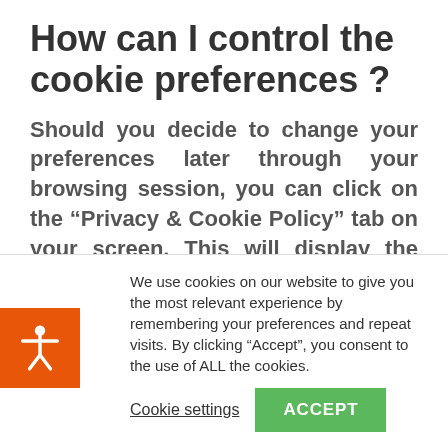How can I control the cookie preferences ?
Should you decide to change your preferences later through your browsing session, you can click on the “Privacy & Cookie Policy” tab on your screen. This will display the consent notice again enabling you to change your preferences or withdraw your consent entirely.
In addition to this, different browsers
We use cookies on our website to give you the most relevant experience by remembering your preferences and repeat visits. By clicking “Accept”, you consent to the use of ALL the cookies.
Cookie settings
ACCEPT